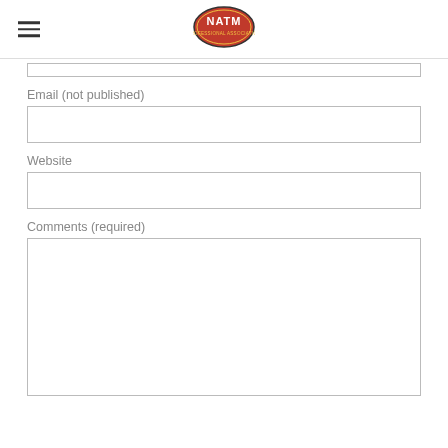[Figure (logo): NATM (National Association of Trailer Manufacturers) oval logo with red background and white text]
Email (not published)
Website
Comments (required)